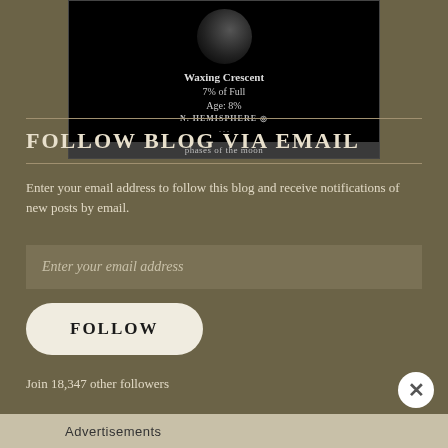[Figure (screenshot): Moon phase widget showing Waxing Crescent moon, 7% of Full, Age: 8%, N. HEMISPHERE label, and 'phases of the moon' footer on black background]
FOLLOW BLOG VIA EMAIL
Enter your email address to follow this blog and receive notifications of new posts by email.
Enter your email address
FOLLOW
Join 18,347 other followers
Advertisements